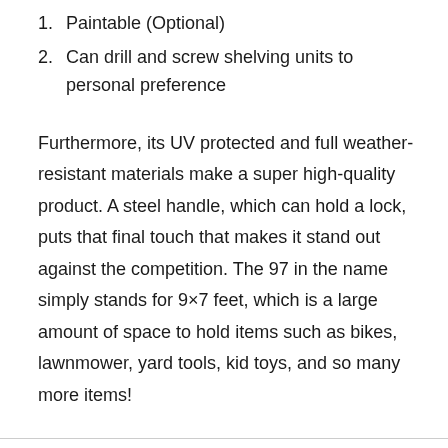1. Paintable (Optional)
2. Can drill and screw shelving units to personal preference
Furthermore, its UV protected and full weather-resistant materials make a super high-quality product. A steel handle, which can hold a lock, puts that final touch that makes it stand out against the competition. The 97 in the name simply stands for 9×7 feet, which is a large amount of space to hold items such as bikes, lawnmower, yard tools, kid toys, and so many more items!